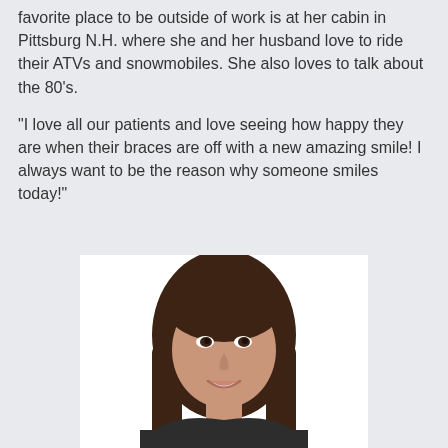favorite place to be outside of work is at her cabin in Pittsburg N.H. where she and her husband love to ride their ATVs and snowmobiles. She also loves to talk about the 80's.
“I love all our patients and love seeing how happy they are when their braces are off with a new amazing smile! I always want to be the reason why someone smiles today!”
[Figure (photo): Portrait photo of a young woman with long brown hair, smiling, wearing a dark top, against a white background.]